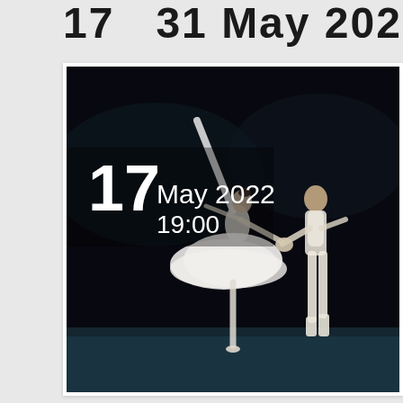17  31 May 2022
[Figure (photo): Ballet performance photo showing a ballerina in a white tutu dress on pointe being held by a male dancer in white costume, on a dark stage with teal floor. Overlaid text reads '17 May 2022 19:00'.]